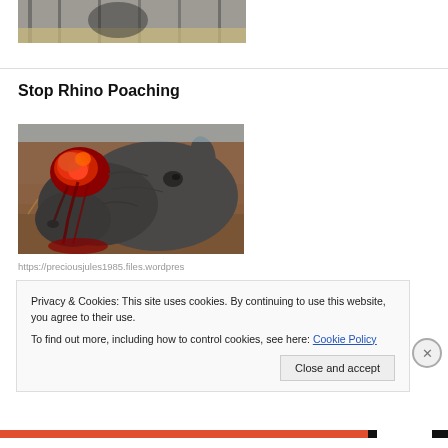[Figure (photo): Partial top of a photo showing what appears to be a dark wooden or metal structure with some straw/hay visible]
Stop Rhino Poaching
[Figure (photo): Close-up photograph of a rhino's face lying on the ground, with its horn removed and a bloody wound visible where the horn was. The image is graphic and sad, used to raise awareness about rhino poaching.]
https://preciousjules1985.files.wordpres
Privacy & Cookies: This site uses cookies. By continuing to use this website, you agree to their use.
To find out more, including how to control cookies, see here: Cookie Policy
Close and accept